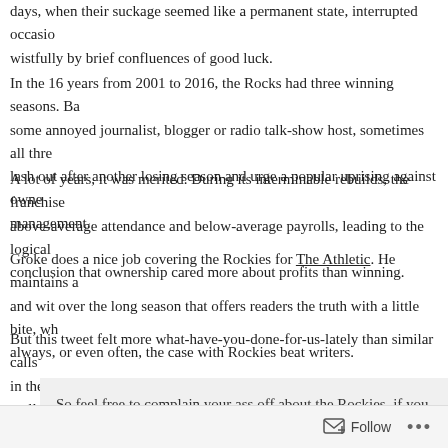days, when their suckage seemed like a permanent state, interrupted occasionally wistfully by brief confluences of good luck.
In the 16 years from 2001 to 2016, the Rocks had three winning seasons. Back some annoyed journalist, blogger or radio talk-show host, sometimes all three, lash out after another losing season and urge a popular uprising against ownership management.
A lot of years, it was merited. During its interminable rebuilds, the franchise above-average attendance and below-average payrolls, leading to the logical conclusion that ownership cared more about profits than winning.
Groke does a nice job covering the Rockies for The Athletic. He maintains a and wit over the long season that offers readers the truth with a little bite, which always, or even often, the case with Rockies beat writers.
But this tweet felt more what-have-you-done-for-us-lately than similar calls in the past. And it started up an old motor on an old cause, which isn’t really
So feel free to complain your ass off about the Rockies, if you care. Complaining might help…
— Nick Groke (@nickgroke)
I’m just a fan now, but aside from hindsight, always 20-20, I don’t know wh complaint aimed at ownership or management would be this year. The Rock